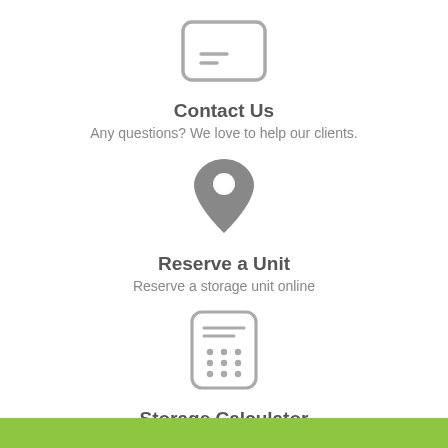[Figure (illustration): Contact Us icon: a rectangle with rounded corners containing two horizontal lines resembling a name card or form]
Contact Us
Any questions? We love to help our clients.
[Figure (illustration): Reserve a Unit icon: a map pin / location marker in dark gray]
Reserve a Unit
Reserve a storage unit online
[Figure (illustration): Storage Calculator icon: a rectangle with rounded corners resembling a calculator with lines and dots]
Storage Calculator
Calculate the size of unit you will need